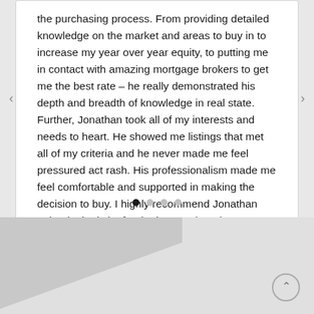Jonathan went above and beyond in every aspect of the purchasing process. From providing detailed knowledge on the market and areas to buy in to increase my year over year equity, to putting me in contact with amazing mortgage brokers to get me the best rate – he really demonstrated his depth and breadth of knowledge in real state. Further, Jonathan took all of my interests and needs to heart. He showed me listings that met all of my criteria and he never made me feel pressured act rash. His professionalism made me feel comfortable and supported in making the decision to buy. I highly recommend Jonathan Orlando, he is by far the best realtor I have ever worked with.
[Figure (other): Carousel pagination dots: 4 dots, first one filled/active, rest are grey outlines]
[Figure (other): Decorative diagonal grey shape in lower portion of page with an up-arrow scroll button in bottom right corner]